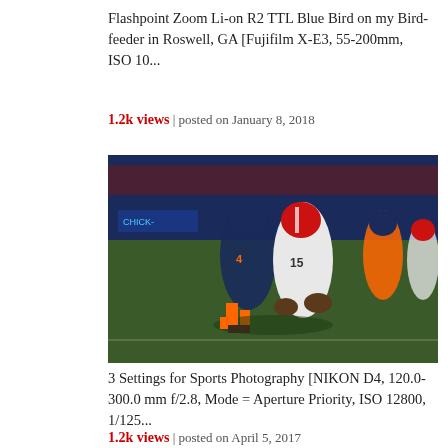Flashpoint Zoom Li-on R2 TTL Blue Bird on my Bird-feeder in Roswell, GA [Fujifilm X-E3, 55-200mm, ISO 10...
1.2k views | posted on January 8, 2018
[Figure (photo): Football game action photo showing players in orange/navy and white/red uniforms on an indoor football field]
3 Settings for Sports Photography [NIKON D4, 120.0-300.0 mm f/2.8, Mode = Aperture Priority, ISO 12800, 1/125...
1.2k views | posted on April 5, 2017